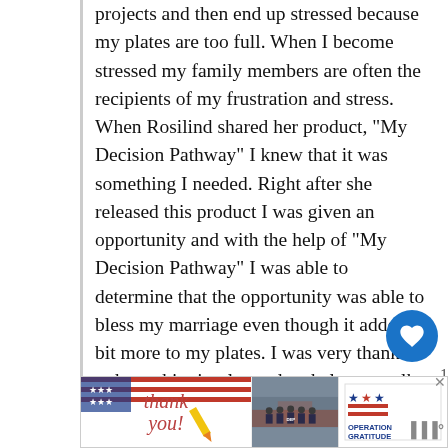projects and then end up stressed because my plates are too full. When I become stressed my family members are often the recipients of my frustration and stress. When Rosilind shared her product, “My Decision Pathway” I knew that it was something I needed. Right after she released this product I was given an opportunity and with the help of “My Decision Pathway” I was able to determine that the opportunity was able to bless my marriage even though it added a bit more to my plates. I was very thankful to have this simple product help me walk through the steps of the decision making process and look forward to using it time and time in the future!    – Misty from Beautiful Ashes and
[Figure (infographic): Advertisement banner with 'Thank you!' script text, photo of firefighters in front of a fire engine, and Operation Gratitude logo]